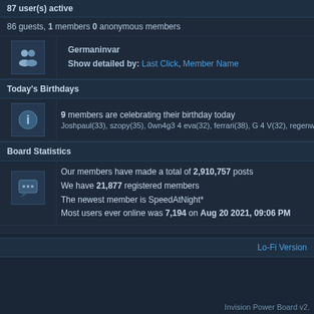87 user(s) active
86 guests, 1 members 0 anonymous members
Germaninvar
Show detailed by: Last Click, Member Name
Today's Birthdays
9 members are celebrating their birthday today
Joshpaul(33), szopy(35), 0wn4g3 4 eva(32), ferrari(38), G 4 V(32), regenworm(34), M…
Board Statistics
Our members have made a total of 2,910,757 posts
We have 21,877 registered members
The newest member is SpeedAtNight*
Most users ever online was 7,194 on Aug 20 2021, 09:06 PM
Lo-Fi Version
Invision Power Board v2.